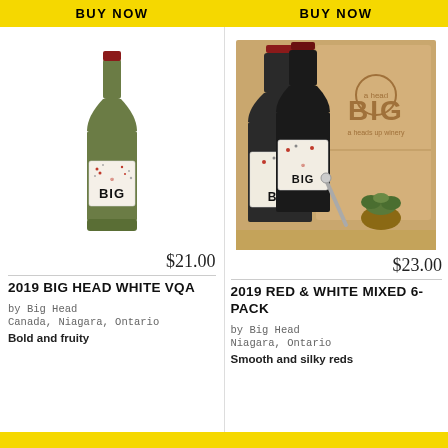BUY NOW
BUY NOW
[Figure (photo): A single green wine bottle with a white label reading BIG, red wax top, Big Head winery product]
[Figure (photo): Two red wine bottles with BIG labels in front of a wooden crate with Big Head logo, with a wine opener and succulent plant]
$21.00
$23.00
2019 BIG HEAD WHITE VQA
2019 RED & WHITE MIXED 6-PACK
by Big Head
Canada, Niagara, Ontario
Bold and fruity
by Big Head
Niagara, Ontario
Smooth and silky reds